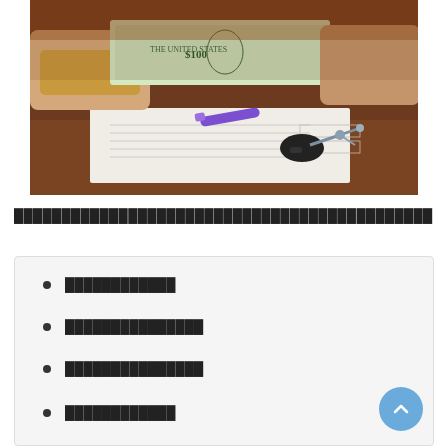[Figure (photo): Two people exchanging US dollar bills over a desk with documents, car keys, and a pen on the table — suggesting a car sale or financial transaction.]
████████████████████████████████████████████
████████████
███████████████
███████████████
████████████